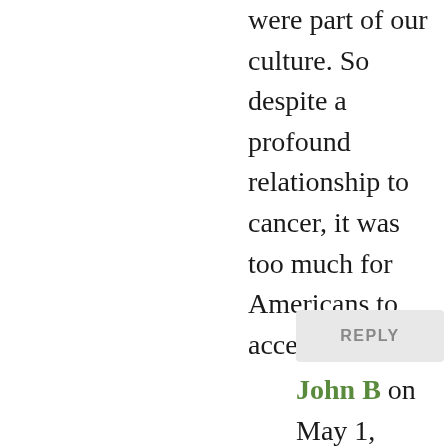were part of our culture. So despite a profound relationship to cancer, it was too much for Americans to accept.
REPLY
John B on May 1, 2018 at